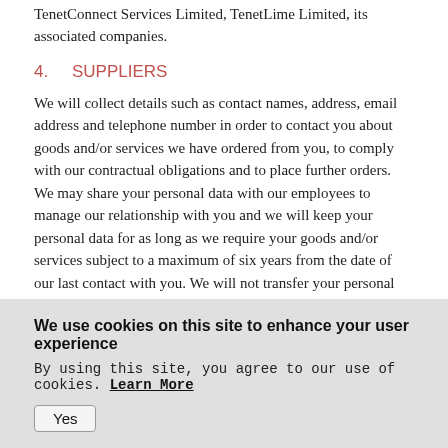TenetConnect Services Limited, TenetLime Limited, its associated companies.
4.    SUPPLIERS
We will collect details such as contact names, address, email address and telephone number in order to contact you about goods and/or services we have ordered from you, to comply with our contractual obligations and to place further orders. We may share your personal data with our employees to manage our relationship with you and we will keep your personal data for as long as we require your goods and/or services subject to a maximum of six years from the date of our last contact with you. We will not transfer your personal data outside United Kingdom unless permitted to do so by data protection legislation (see section 8 of this Privacy Policy).
5.    MARKETING
5.1   We may use customer personal data to provide you with details about our services, products, business updates and events which we think
We use cookies on this site to enhance your user experience
By using this site, you agree to our use of cookies. Learn More
Yes